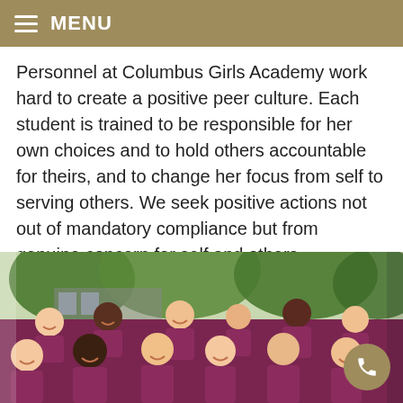MENU
Personnel at Columbus Girls Academy work hard to create a positive peer culture. Each student is trained to be responsible for her own choices and to hold others accountable for theirs, and to change her focus from self to serving others. We seek positive actions not out of mandatory compliance but from genuine concern for self and others.
[Figure (photo): Group photo of students and staff from Columbus Girls Academy, wearing burgundy/maroon polo shirts, smiling and laughing outdoors in front of trees and a building.]